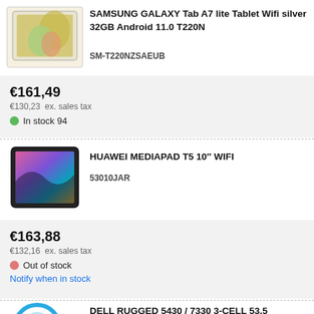[Figure (photo): Samsung Galaxy Tab A7 lite tablet product image]
SAMSUNG GALAXY Tab A7 lite Tablet Wifi silver 32GB Android 11.0 T220N
SM-T220NZSAEUB
€161,49
€130,23 ex. sales tax
In stock 94
[Figure (photo): Huawei MediaPad T5 10 tablet product image]
HUAWEI MEDIAPAD T5 10″ WIFI
53010JAR
€163,88
€132,16 ex. sales tax
Out of stock
Notify when in stock
[Figure (photo): Dell Rugged product image (partially visible)]
DELL RUGGED 5430 / 7330 3-CELL 53.5